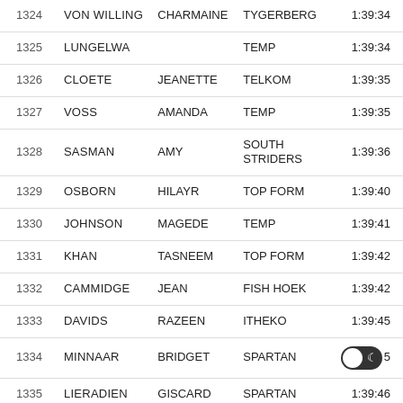| # | Surname | First Name | Club | Time |
| --- | --- | --- | --- | --- |
| 1324 | VON WILLING | CHARMAINE | TYGERBERG | 1:39:34 |
| 1325 | LUNGELWA |  | TEMP | 1:39:34 |
| 1326 | CLOETE | JEANETTE | TELKOM | 1:39:35 |
| 1327 | VOSS | AMANDA | TEMP | 1:39:35 |
| 1328 | SASMAN | AMY | SOUTH STRIDERS | 1:39:36 |
| 1329 | OSBORN | HILAYR | TOP FORM | 1:39:40 |
| 1330 | JOHNSON | MAGEDE | TEMP | 1:39:41 |
| 1331 | KHAN | TASNEEM | TOP FORM | 1:39:42 |
| 1332 | CAMMIDGE | JEAN | FISH HOEK | 1:39:42 |
| 1333 | DAVIDS | RAZEEN | ITHEKO | 1:39:45 |
| 1334 | MINNAAR | BRIDGET | SPARTAN | 1:39:45 |
| 1335 | LIERADIEN | GISCARD | SPARTAN | 1:39:46 |